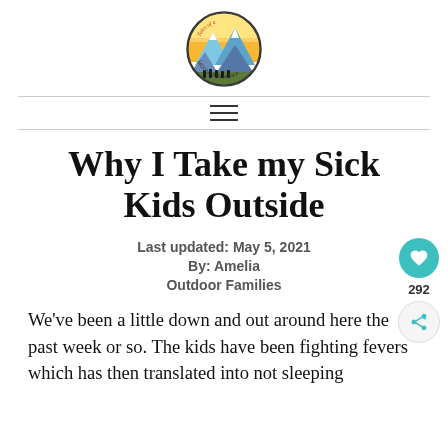[Figure (logo): Tales of a Mountain Mama circular logo with mountain landscape illustration and hikers]
≡
Why I Take my Sick Kids Outside
Last updated: May 5, 2021
By: Amelia
Outdoor Families
We've been a little down and out around here the past week or so.  The kids have been fighting fevers which has then translated into not sleeping